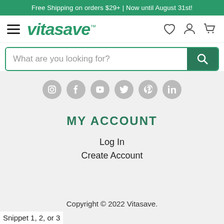Free Shipping on orders $29+ | Now until August 31st!
[Figure (logo): Vitasave logo with hamburger menu and nav icons (heart, account, cart)]
[Figure (screenshot): Search bar with placeholder text 'What are you looking for?' and green search button]
[Figure (infographic): Six social media icon circles: Instagram, Facebook, YouTube, Twitter, Pinterest, LinkedIn]
MY ACCOUNT
Log In
Create Account
Copyright © 2022 Vitasave.
Snippet 1, 2, or 3